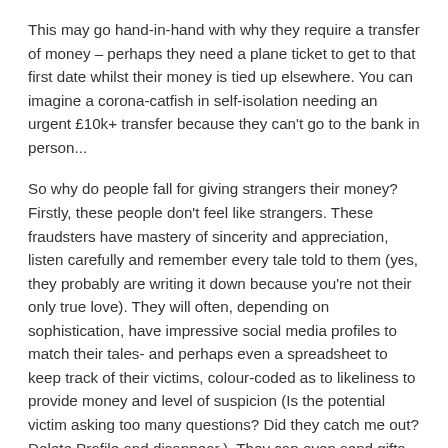This may go hand-in-hand with why they require a transfer of money – perhaps they need a plane ticket to get to that first date whilst their money is tied up elsewhere. You can imagine a corona-catfish in self-isolation needing an urgent £10k+ transfer because they can't go to the bank in person...
So why do people fall for giving strangers their money? Firstly, these people don't feel like strangers. These fraudsters have mastery of sincerity and appreciation, listen carefully and remember every tale told to them (yes, they probably are writing it down because you're not their only true love). They will often, depending on sophistication, have impressive social media profiles to match their tales- and perhaps even a spreadsheet to keep track of their victims, colour-coded as to likeliness to provide money and level of suspicion (Is the potential victim asking too many questions? Did they catch me out? Delete Profile and disappear.). They can even send gifts and flowers to show "real" gestures of burgeoning love. And now Covid-19 is dishing out the perfect scenario for the catfish fraudster – he or she is no longer required to think of an excuse as to why they are unable